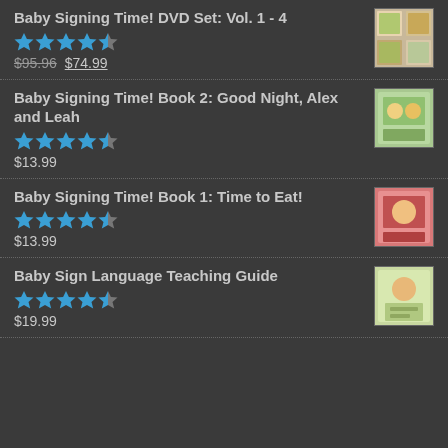Baby Signing Time! DVD Set: Vol. 1 - 4
★★★★½
$95.96 $74.99
Baby Signing Time! Book 2: Good Night, Alex and Leah
★★★★½
$13.99
Baby Signing Time! Book 1: Time to Eat!
★★★★½
$13.99
Baby Sign Language Teaching Guide
★★★★½
$19.99